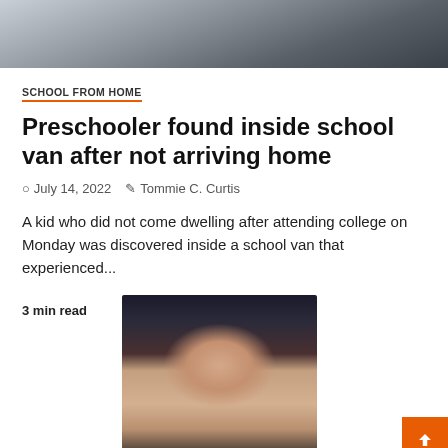[Figure (photo): Partial top image showing a blurred camera or equipment in grey tones]
SCHOOL FROM HOME
Preschooler found inside school van after not arriving home
July 14, 2022   Tommie C. Curtis
A kid who did not come dwelling after attending college on Monday was discovered inside a school van that experienced...
3 min read
[Figure (photo): Close-up portrait of a woman with dark hair and hazel/green eyes looking directly at camera]